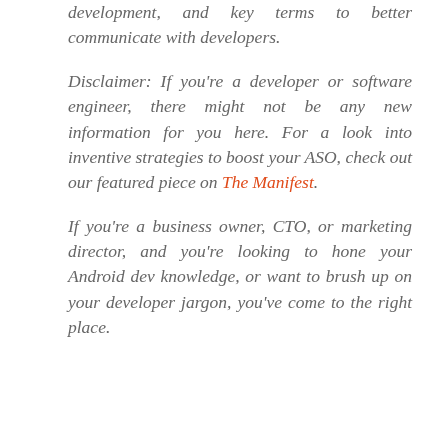development, and key terms to better communicate with developers.
Disclaimer: If you're a developer or software engineer, there might not be any new information for you here. For a look into inventive strategies to boost your ASO, check out our featured piece on The Manifest.
If you're a business owner, CTO, or marketing director, and you're looking to hone your Android dev knowledge, or want to brush up on your developer jargon, you've come to the right place.